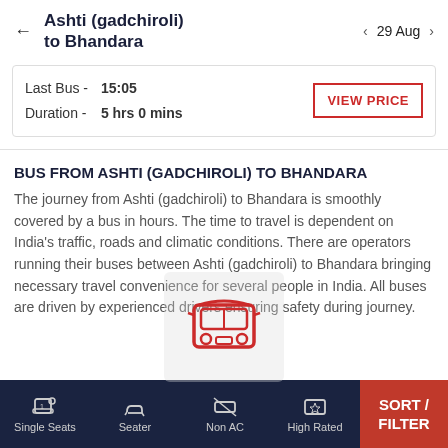Ashti (gadchiroli) to Bhandara | 29 Aug
Last Bus - 15:05
Duration - 5 hrs 0 mins
BUS FROM ASHTI (GADCHIROLI) TO BHANDARA
[Figure (illustration): Red bus icon centered over body text as a watermark-style overlay]
The journey from Ashti (gadchiroli) to Bhandara is smoothly covered by a bus in hours. The time to travel is dependent on India's traffic, roads and climatic conditions. There are operators running their buses between Ashti (gadchiroli) to Bhandara bringing necessary travel convenience for several people in India. All buses are driven by experienced drivers ensuring safety during journey.
Single Seats | Seater | Non AC | High Rated | SORT / FILTER